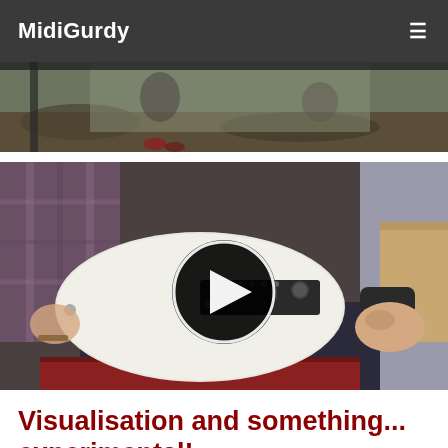MidiGurdy
[Figure (photo): Outdoor scene showing people, partial view, dark background at top]
[Figure (screenshot): Video thumbnail showing a person playing a MidiGurdy instrument (white electronic hurdy-gurdy device), with a play button overlay in the center]
Visualisation and something... experimental!